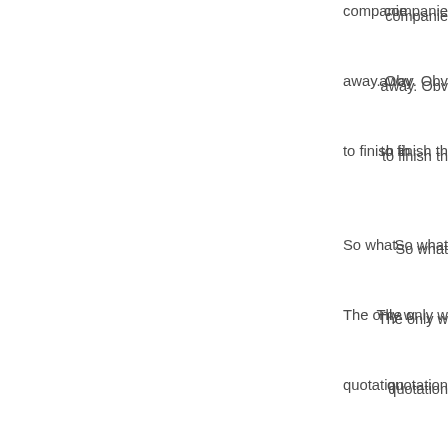companies away. Obviously to finish th So what The only w quotation companies website m making a c providers The serv The best c to high sc postgradu range of s looking at